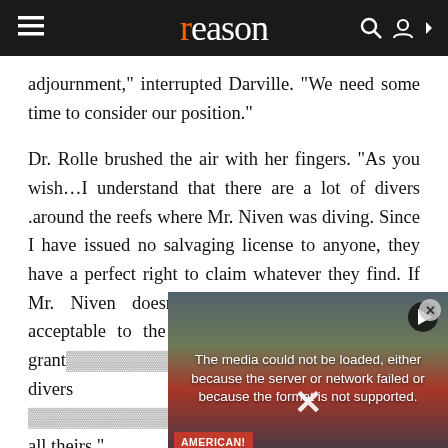reason
adjournment," interrupted Darville. "We need some time to consider our position."
Dr. Rolle brushed the air with her fingers. "As you wish...I understand that there are a lot of divers .around the reefs where Mr. Niven was diving. Since I have issued no salvaging license to anyone, they have a perfect right to claim whatever they find. If Mr. Niven doesn't want a license on terms acceptable to the Treasury, I'm quite content to grant [obscured] divers pinpoint [obscured] all theirs."
[Figure (screenshot): Video player overlay showing error message: 'The media could not be loaded, either because the server or network failed or because the format is not supported.' with a protest scene background showing people with signs including 'AMERICAN!']
"You mean forty [obscured] the flicker of a m[obscured]
"Why, of course[obscured]
triumphant politeness. "Each one of us owes something to